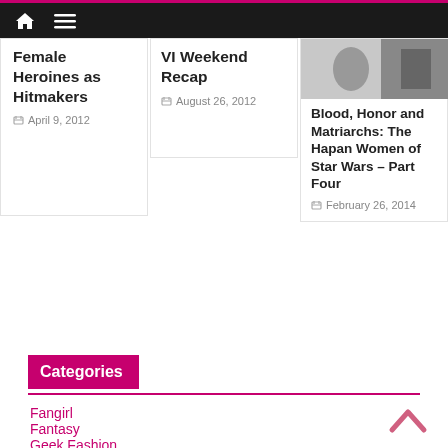Navigation bar with home and menu icons
Female Heroines as Hitmakers
April 9, 2012
VI Weekend Recap
August 26, 2012
[Figure (photo): Thumbnail image for Blood, Honor and Matriarchs article]
Blood, Honor and Matriarchs: The Hapan Women of Star Wars – Part Four
February 26, 2014
Categories
Fangirl
Fantasy
Geek Fashion